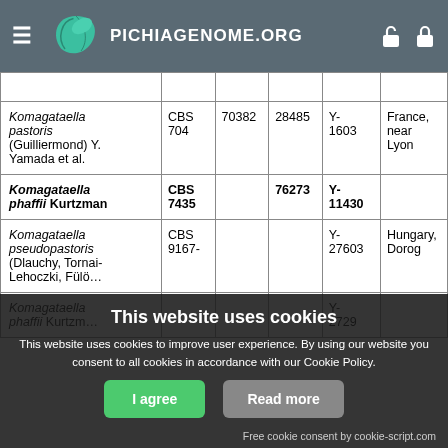PICHIAGENOME.ORG
| Species | CBS | Col1 | Col2 | Y-Num | Location |
| --- | --- | --- | --- | --- | --- |
|  |  |  |  |  |  |
| Komagataella pastoris (Guilliermond) Y. Yamada et al. | CBS 704 | 70382 | 28485 | Y-1603 | France, near Lyon |
| Komagataella phaffii Kurtzman | CBS 7435 |  | 76273 | Y-11430 |  |
| Komagataella pseudopastoris (Dlauchy, Tornai-Lehoczki, Fül… | CBS 9167- |  |  | Y-27603 | Hungary, Dorog |
| Komagataella phaffii Kurtzman |  |  |  | Y-2729 |  |
This website uses cookies
This website uses cookies to improve user experience. By using our website you consent to all cookies in accordance with our Cookie Policy.
Free cookie consent by cookie-script.com